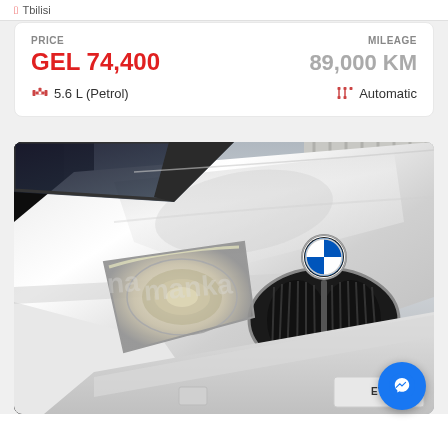Tbilisi
PRICE: GEL 74,400 | MILEAGE: 89,000 KM | 5.6 L (Petrol) | Automatic
[Figure (photo): White BMW X5 SUV front view showing hood, headlights, grille, and BMW logo. Watermark text visible on car body.]